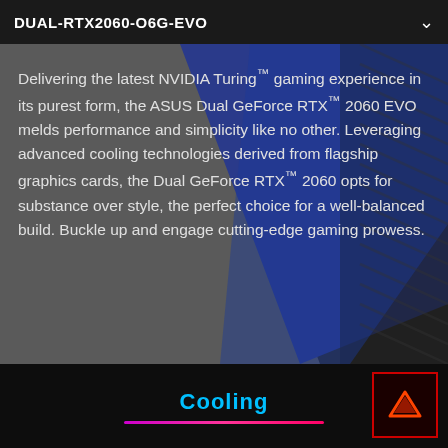DUAL-RTX2060-O6G-EVO
[Figure (illustration): Dark geometric background with grey, blue and dark diagonal shapes forming abstract background for graphics card product page]
Delivering the latest NVIDIA Turing™ gaming experience in its purest form, the ASUS Dual GeForce RTX™ 2060 EVO melds performance and simplicity like no other. Leveraging advanced cooling technologies derived from flagship graphics cards, the Dual GeForce RTX™ 2060 opts for substance over style, the perfect choice for a well-balanced build. Buckle up and engage cutting-edge gaming prowess.
Cooling
[Figure (logo): Red bordered black box with orange/red upward pointing chevron arrow icon]